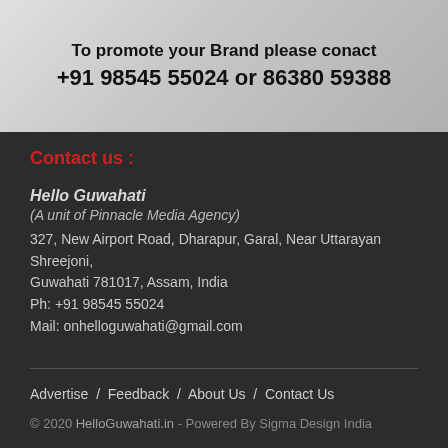[Figure (infographic): Gray banner with text promoting brand contact information: 'To promote your Brand please conact +91 98545 55024 or 86380 59388']
Contact us :
Hello Guwahati
(A unit of Pinnacle Media Agency)
327, New Airport Road, Dharapur, Garal, Near Uttarayan Shreejoni, Guwahati 781017, Assam, India
Ph: +91 98545 55024
Mail: onhelloguwahati@gmail.com
Advertise / Feedback / About Us / Contact Us
© 2020 HelloGuwahati.in - Powered By Sigma Design India